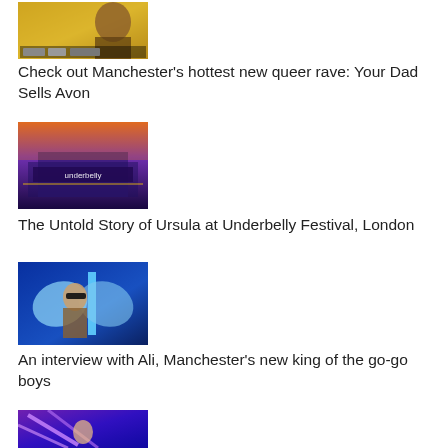[Figure (photo): Thumbnail image with gold/glitter background showing a person, with small logos at bottom]
Check out Manchester's hottest new queer rave: Your Dad Sells Avon
[Figure (photo): Night-time photo of Underbelly Festival venue with purple/orange sky and illuminated sign reading 'underbelly']
The Untold Story of Ursula at Underbelly Festival, London
[Figure (photo): Person wearing angel wings and sunglasses in a blue-lit environment]
An interview with Ali, Manchester's new king of the go-go boys
[Figure (photo): Partial thumbnail showing neon purple/blue lights with a performer]